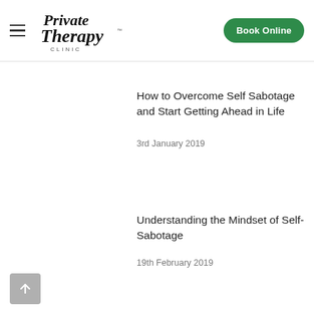Private Therapy Clinic — Book Online
How to Overcome Self Sabotage and Start Getting Ahead in Life
3rd January 2019
Understanding the Mindset of Self-Sabotage
19th February 2019